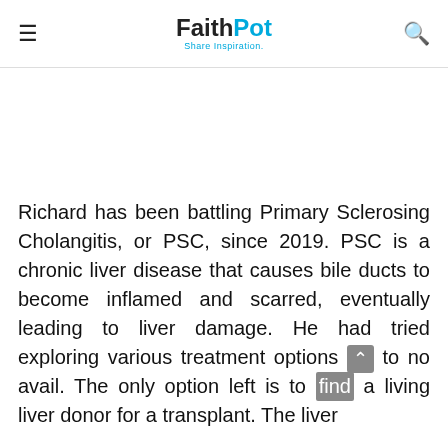FaithPot — Share Inspiration.
Richard has been battling Primary Sclerosing Cholangitis, or PSC, since 2019. PSC is a chronic liver disease that causes bile ducts to become inflamed and scarred, eventually leading to liver damage. He had tried exploring various treatment options but to no avail. The only option left is to find a living liver donor for a transplant. The liver